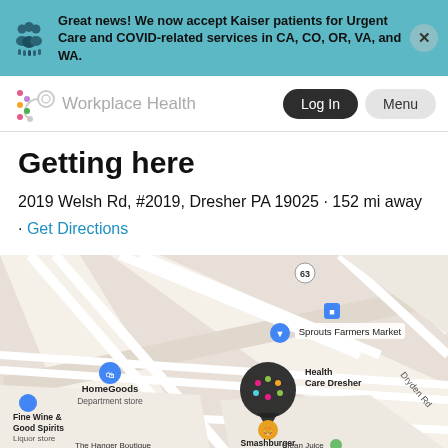Great news! We now accept Kaiser patients for Urgent Care and COVID-related services in CA, CO, OR, VA, and WA.
Workplace Health | Log In | Menu
Getting here
2019 Welsh Rd, #2019, Dresher PA 19025 • 152 mi away
• Get Directions
[Figure (map): Google Maps view showing the location of Workplace Health Care Dresher at 2019 Welsh Rd, Dresher PA 19025. Nearby landmarks include Sprouts Farmers Market, HomeGoods Department store, Fine Wine & Good Spirits Liquor store, Smashburger Hamburger, and The Hanger Boutique / Clean Juice. Dryden Rd is visible on the right side.]